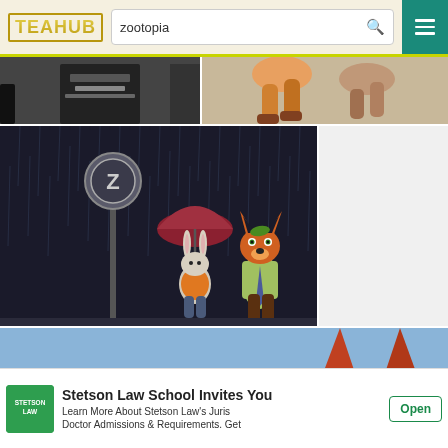TEAHUB — search: zootopia
[Figure (screenshot): Partial image at top left: cropped view of a character with belt/costume detail]
[Figure (screenshot): Partial image at top right: cropped view of animated characters' legs running]
[Figure (illustration): Zootopia fan art: Judy Hopps with umbrella and Nick Wilde standing in rain at a bus stop with Z sign]
[Figure (screenshot): Sidebar area: blank/white]
[Figure (screenshot): Bottom partial image: close-up of orange/red fox ears above a red car]
Stetson Law School Invites You
Learn More About Stetson Law's Juris Doctor Admissions & Requirements. Get
Open